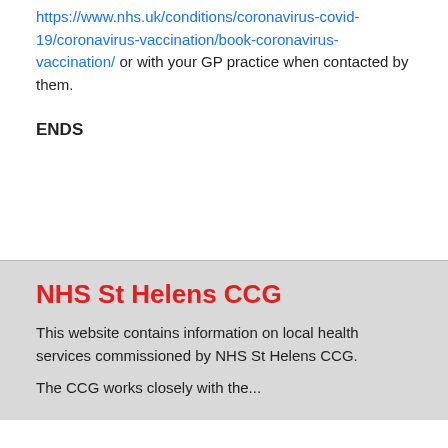https://www.nhs.uk/conditions/coronavirus-covid-19/coronavirus-vaccination/book-coronavirus-vaccination/ or with your GP practice when contacted by them.
ENDS
NHS St Helens CCG
This website contains information on local health services commissioned by NHS St Helens CCG.
The CCG works closely with the...